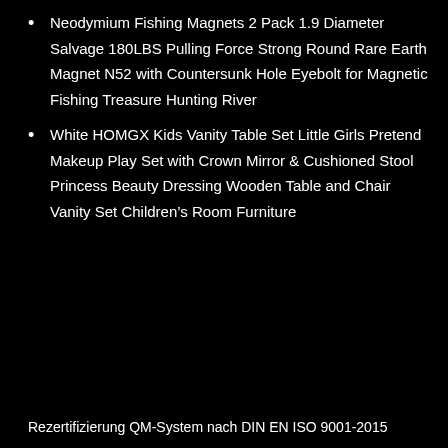Neodymium Fishing Magnets 2 Pack 1.9 Diameter Salvage 180LBS Pulling Force Strong Round Rare Earth Magnet N52 with Countersunk Hole Eyebolt for Magnetic Fishing Treasure Hunting River
White HOMGX Kids Vanity Table Set Little Girls Pretend Makeup Play Set with Crown Mirror & Cushioned Stool Princess Beauty Dressing Wooden Table and Chair Vanity Set Children’s Room Furniture
Rezertifizierung QM-System nach DIN EN ISO 9001-2015